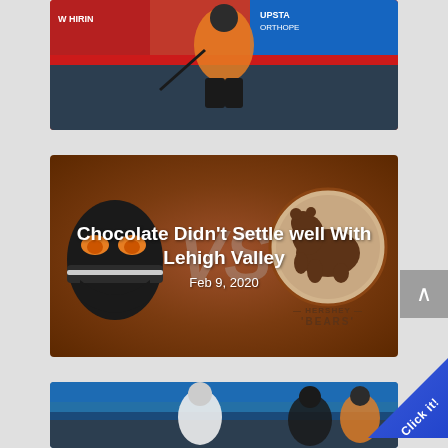[Figure (photo): Hockey player in orange and black uniform on ice rink with Upstate Orthopedics advertisement in background]
[Figure (illustration): Orange-brown background card showing Lehigh Valley Phantoms vs Hershey Bears matchup graphic with team logos and VS text]
Chocolate Didn't Settle well With Lehigh Valley
Feb 9, 2020
[Figure (photo): Hockey players on ice rink, partially visible at bottom of page with Click it! badge overlay]